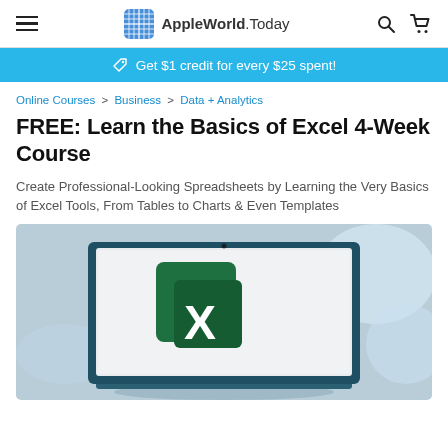AppleWorld.Today
Get $1 credit for every $25 spent!
Online Courses > Business > Data + Analytics
FREE: Learn the Basics of Excel 4-Week Course
Create Professional-Looking Spreadsheets by Learning the Very Basics of Excel Tools, From Tables to Charts & Even Templates
[Figure (photo): Laptop computer displaying the Microsoft Excel logo (green X icon) on its screen, photographed on a desk with blurred background.]